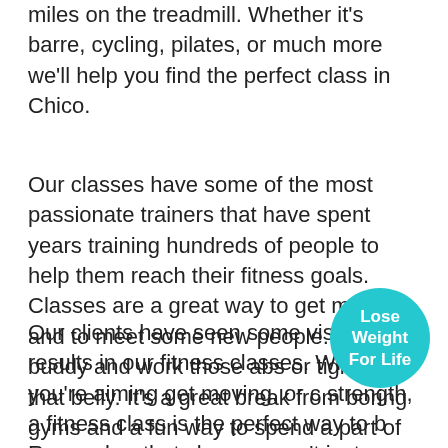miles on the treadmill. Whether it's barre, cycling, pilates, or much more we'll help you find the perfect class in Chico.
Our classes have some of the most passionate trainers that have spent years training hundreds of people to help them reach their fitness goals. Classes are a great way to get moving and to meet some new people. Bring a buddy and work those abs or tighten that belly. It's a great break from boring gyms and a fun way to spend a part of your Chico day.
Our clients have seen some visible results in our fitness classes. Whether you're aiming get moving, or on strength, a fitness class is the perfect way to b... Remember that classes aren't just about weigh... Classes can be the perfect way to get your heart pumping and to increase your general endurance. Our clients have
[Figure (other): Teal circular badge with white text reading 'Lose Weight For Life']